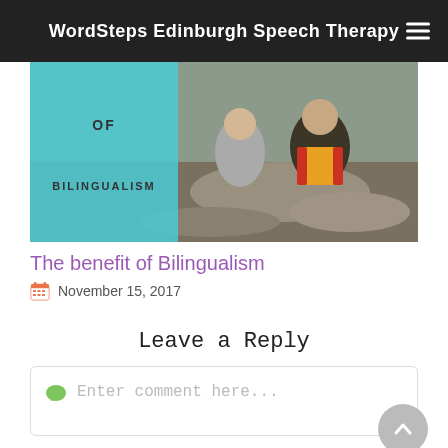WordSteps Edinburgh Speech Therapy
[Figure (photo): Photo of two children sitting outdoors on a rocky beach, with a cyan overlay panel on the left side showing the text 'OF' and 'BILINGUALISM']
The benefit of Bilingualism
November 15, 2017
Leave a Reply
Enter comment here...